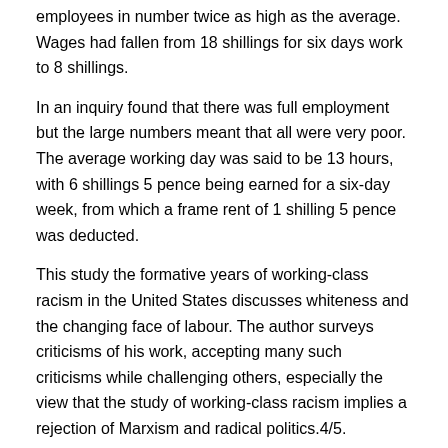employees in number twice as high as the average. Wages had fallen from 18 shillings for six days work to 8 shillings.
In an inquiry found that there was full employment but the large numbers meant that all were very poor. The average working day was said to be 13 hours, with 6 shillings 5 pence being earned for a six-day week, from which a frame rent of 1 shilling 5 pence was deducted.
This study the formative years of working-class racism in the United States discusses whiteness and the changing face of labour. The author surveys criticisms of his work, accepting many such criticisms while challenging others, especially the view that the study of working-class racism implies a rejection of Marxism and radical politics.4/5.
“The work rate for adult men has plunged 13 percentage points in a half-century. This ‘work deficit’ of ‘Great Depression–scale underutilization’ of male potential workers is the subject of Nicholas Eberstadt’s new monograph Men Without Work: America’s Invisible Crisis, Cited by: 1.
Suppose, by some happy stroke of luck, you are offered a job at a